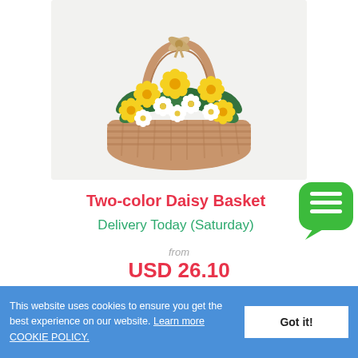[Figure (photo): A wicker basket filled with yellow and white daisy flowers with green leaves, photographed against a white/light grey background. The basket has a handle tied with a raffia bow at the top.]
Two-color Daisy Basket
Delivery Today (Saturday)
from
USD 26.10
GBP22.68 | EUR 26.21
This website uses cookies to ensure you get the best experience on our website. Learn more COOKIE POLICY.